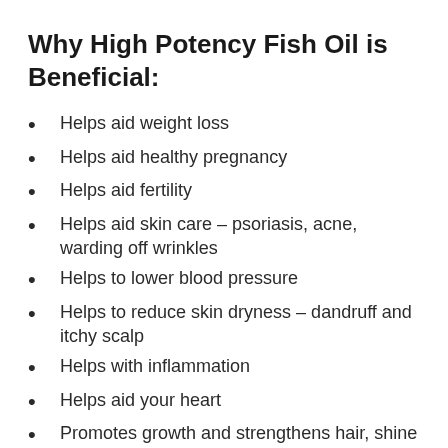Why High Potency Fish Oil is Beneficial:
Helps aid weight loss
Helps aid healthy pregnancy
Helps aid fertility
Helps aid skin care – psoriasis, acne, warding off wrinkles
Helps to lower blood pressure
Helps to reduce skin dryness – dandruff and itchy scalp
Helps with inflammation
Helps aid your heart
Promotes growth and strengthens hair, shine and nourishes follicles